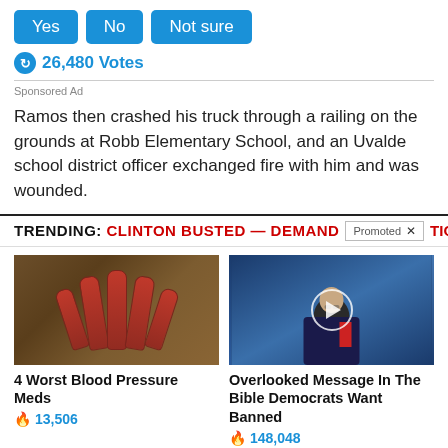Yes | No | Not sure
26,480 Votes
Sponsored Ad
Ramos then crashed his truck through a railing on the grounds at Robb Elementary School, and an Uvalde school district officer exchanged fire with him and was wounded.
TRENDING: CLINTON BUSTED — DEMAND [Promoted] TION
[Figure (photo): Advertisement image showing medicine pill bottles arranged in a row against dark background]
4 Worst Blood Pressure Meds
🔥 13,506
[Figure (photo): Advertisement image showing an older man speaking at a podium against blue background, with a video play button overlay]
Overlooked Message In The Bible Democrats Want Banned
🔥 148,048